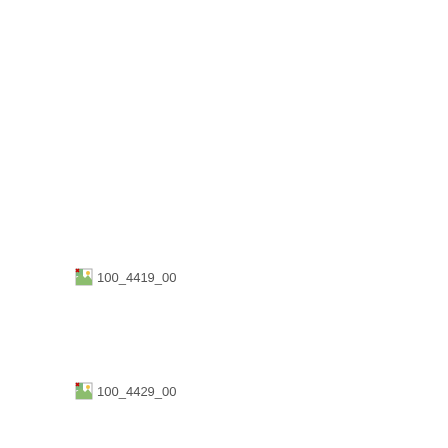[Figure (photo): Broken/missing image placeholder with filename 100_4419_00]
[Figure (photo): Broken/missing image placeholder with filename 100_4429_00]